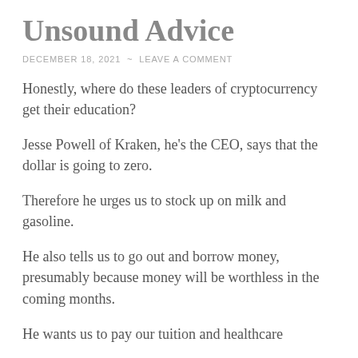Unsound Advice
DECEMBER 18, 2021 ~ LEAVE A COMMENT
Honestly, where do these leaders of cryptocurrency get their education?
Jesse Powell of Kraken, he's the CEO, says that the dollar is going to zero.
Therefore he urges us to stock up on milk and gasoline.
He also tells us to go out and borrow money, presumably because money will be worthless in the coming months.
He wants us to pay our tuition and healthcare...